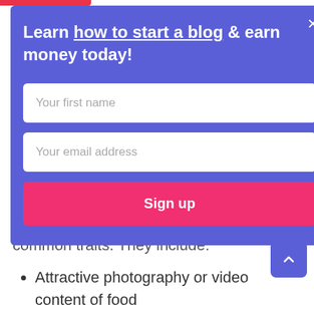[Figure (screenshot): A modal popup with a blue/purple background containing a title 'Learn how to start a blog & earn money today!', two input fields (Your first name, Your email address), and a pink Sign up button.]
lot. In comparing What's Baby Cooking to other food blogs, we can see a few common traits. They include:
Attractive photography or video content of food